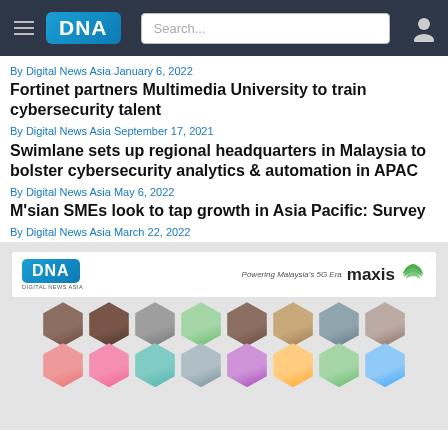DNA | Digital News Asia
By Digital News Asia January 6, 2022
Fortinet partners Multimedia University to train cybersecurity talent
By Digital News Asia September 17, 2021
Swimlane sets up regional headquarters in Malaysia to bolster cybersecurity analytics & automation in APAC
By Digital News Asia May 6, 2022
M'sian SMEs look to tap growth in Asia Pacific: Survey
By Digital News Asia March 22, 2022
[Figure (photo): DNA Digital News Asia banner with Maxis sponsorship and a grid of hexagonal portrait photos of various people]